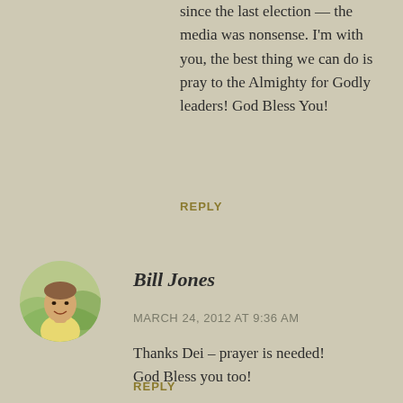since the last election — the media was nonsense. I'm with you, the best thing we can do is pray to the Almighty for Godly leaders! God Bless You!
REPLY
Bill Jones
MARCH 24, 2012 AT 9:36 AM
Thanks Dei – prayer is needed! God Bless you too!
REPLY